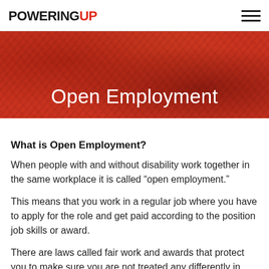POWERINGUP
[Figure (illustration): Red banner hero image with crowd in background, overlaid with text 'Open Employment']
Open Employment
What is Open Employment?
When people with and without disability work together in the same workplace it is called “open employment.”
This means that you work in a regular job where you have to apply for the role and get paid according to the position job skills or award.
There are laws called fair work and awards that protect you to make sure you are not treated any differently in